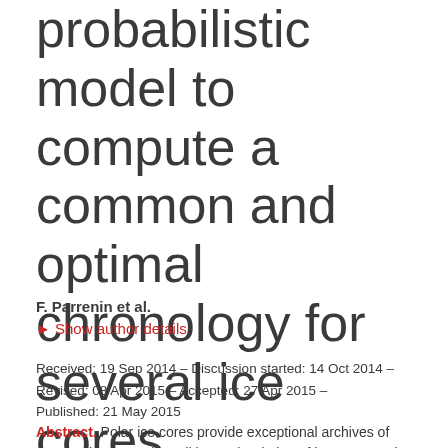probabilistic model to compute a common and optimal chronology for several ice cores
F. Parrenin et al.
▶ Show author details
Received: 19 Sep 2014 – Discussion started: 14 Oct 2014 – Revised: 08 Apr 2015 – Accepted: 27 Apr 2015 – Published: 21 May 2015
Abstract. Polar ice cores provide exceptional archives of past environmental conditions. The dating of ice cores and